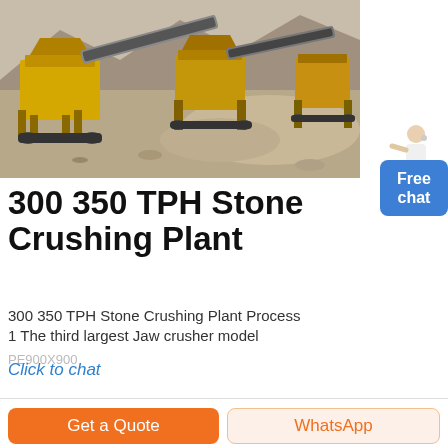[Figure (photo): Aerial view of a large yellow stone crushing plant set in a rocky quarry/desert landscape. Large industrial jaw crushers, conveyor belts and screening equipment visible.]
300 350 TPH Stone Crushing Plant
300 350 TPH Stone Crushing Plant Process
1 The third largest Jaw crusher model PE900X900...
Click to chat
Get a Quote
WhatsApp